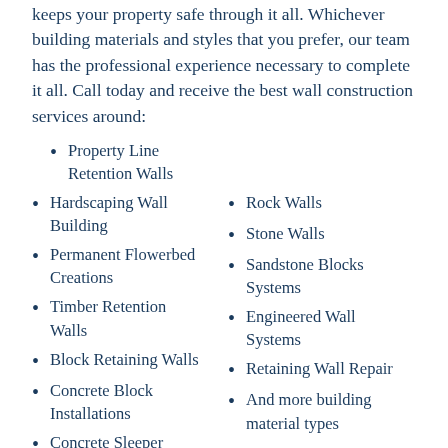keeps your property safe through it all. Whichever building materials and styles that you prefer, our team has the professional experience necessary to complete it all. Call today and receive the best wall construction services around:
Property Line Retention Walls
Hardscaping Wall Building
Rock Walls
Stone Walls
Permanent Flowerbed Creations
Sandstone Blocks Systems
Timber Retention Walls
Engineered Wall Systems
Block Retaining Walls
Retaining Wall Repair
Concrete Block Installations
And more building material types
Concrete Sleeper